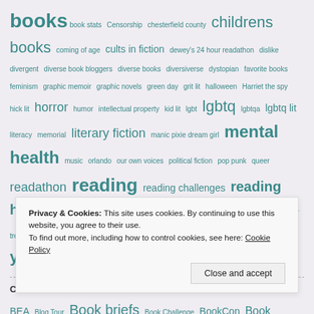books book stats Censorship chesterfield county childrens books coming of age cults in fiction dewey's 24 hour readathon dislike divergent diverse book bloggers diverse books diversiverse dystopian favorite books feminism graphic memoir graphic novels green day grit lit halloween Harriet the spy hick lit horror humor intellectual property kid lit lgbt lgbtq lgbtqa lgbtq lit literacy memorial literary fiction manic pixie dream girl mental health music orlando our own voices political fiction pop punk queer readathon reading reading challenges reading habits Reading History review sci fi thebookcon the bookternet trick or treat Tunesday virginia politics women authors women in horror young adult fiction
CATEGORY CLOUD
BEA Blog Tour Book briefs Book Challenge BookCon Book Events Book Recommendations Book trends Censorship Giveaway Interview mental health...
Privacy & Cookies: This site uses cookies. By continuing to use this website, you agree to their use.
To find out more, including how to control cookies, see here: Cookie Policy